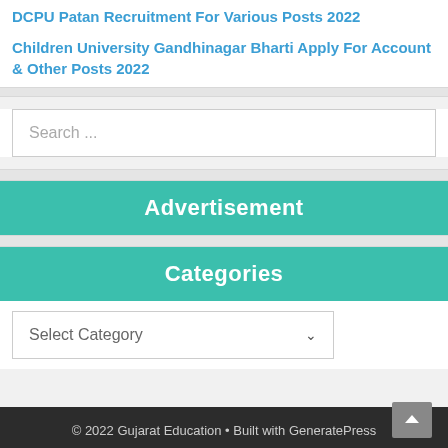DCPU Patan Recruitment For Various Posts 2022
Children University Gandhinagar Bharti Apply For Account & Other Posts 2022
Search ...
Advertisement
Categories
Select Category
© 2022 Gujarat Education • Built with GeneratePress